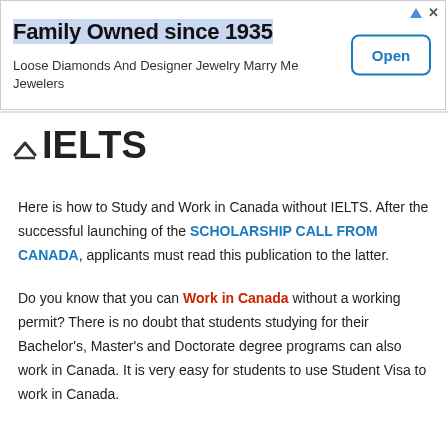[Figure (other): Advertisement banner: 'Family Owned since 1935' - Loose Diamonds And Designer Jewelry Marry Me Jewelers, with an 'Open' button on the right]
IELTS
Here is how to Study and Work in Canada without IELTS. After the successful launching of the SCHOLARSHIP CALL FROM CANADA, applicants must read this publication to the latter.
Do you know that you can Work in Canada without a working permit? There is no doubt that students studying for their Bachelor's, Master's and Doctorate degree programs can also work in Canada. It is very easy for students to use Student Visa to work in Canada.